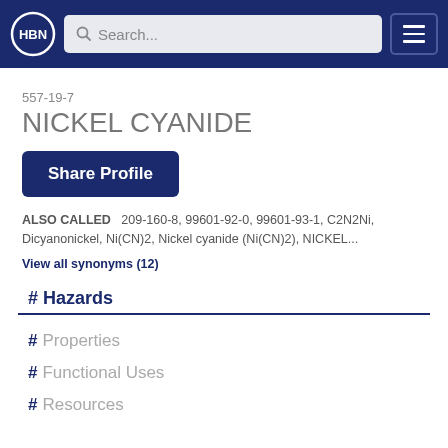HBN Search...
557-19-7
NICKEL CYANIDE
Share Profile
ALSO CALLED   209-160-8, 99601-92-0, 99601-93-1, C2N2Ni, Dicyanonickel, Ni(CN)2, Nickel cyanide (Ni(CN)2), NICKEL...
View all synonyms (12)
# Hazards
# Properties
# Functional Uses
# Resources